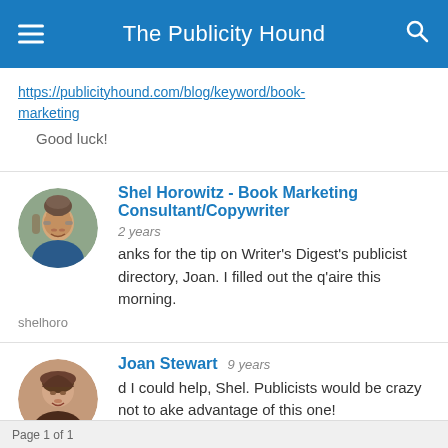The Publicity Hound
https://publicityhound.com/blog/keyword/book-marketing
Good luck!
Shel Horowitz - Book Marketing Consultant/Copywriter  2 years  Thanks for the tip on Writer's Digest's publicist directory, Joan. I filled out the q'aire this morning.  shelhoro
Joan Stewart  9 years  d I could help, Shel. Publicists would be crazy not to ake advantage of this one!  pubhound
Page 1 of 1